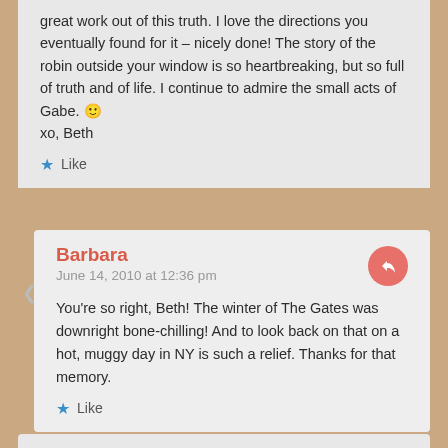great work out of this truth. I love the directions you eventually found for it – nicely done! The story of the robin outside your window is so heartbreaking, but so full of truth and of life. I continue to admire the small acts of Gabe. 🙂
xo, Beth
Like
Barbara
June 14, 2010 at 12:36 pm
You're so right, Beth! The winter of The Gates was downright bone-chilling! And to look back on that on a hot, muggy day in NY is such a relief. Thanks for that memory.
Like